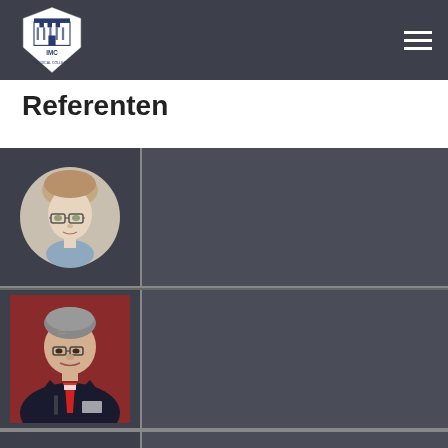International Medical College - Navigation header
Referenten
[Figure (photo): Profile photo of first speaker - young man with glasses, circular crop, on dark background card]
[Figure (photo): Profile photo of second speaker - older man in dark suit with red tie, speaking at podium, on dark background card]
[Figure (photo): Partial view of third speaker card at bottom of page]